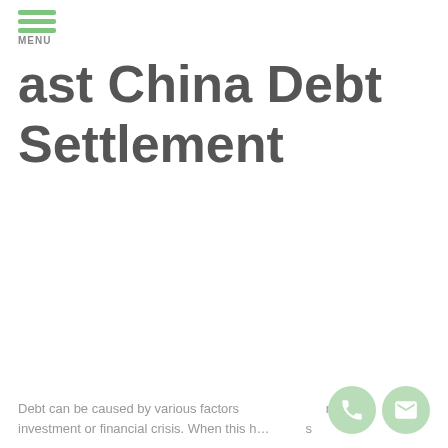MENU
ast China Debt Settlement
Debt can be caused by various factors on financial investment or financial crises. When this happens, a